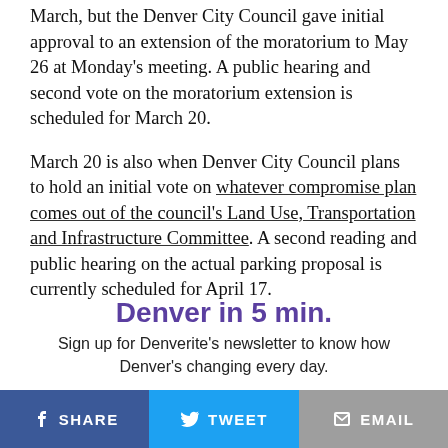March, but the Denver City Council gave initial approval to an extension of the moratorium to May 26 at Monday's meeting. A public hearing and second vote on the moratorium extension is scheduled for March 20.
March 20 is also when Denver City Council plans to hold an initial vote on whatever compromise plan comes out of the council's Land Use, Transportation and Infrastructure Committee. A second reading and public hearing on the actual parking proposal is currently scheduled for April 17.
Denver in 5 min.
Sign up for Denverite's newsletter to know how Denver's changing every day.
SHARE | TWEET | EMAIL